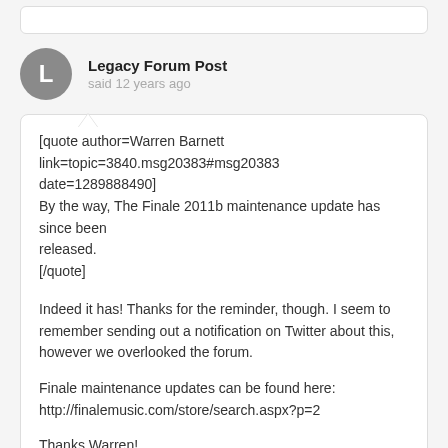[Legacy Forum Post stub top]
Legacy Forum Post
said 12 years ago
[quote author=Warren Barnett link=topic=3840.msg20383#msg20383 date=1289888490]
By the way, The Finale 2011b maintenance update has since been released.
[/quote]
Indeed it has! Thanks for the reminder, though. I seem to remember sending out a notification on Twitter about this, however we overlooked the forum.
Finale maintenance updates can be found here:
http://finalemusic.com/store/search.aspx?p=2
Thanks Warren!
Legacy Forum Post